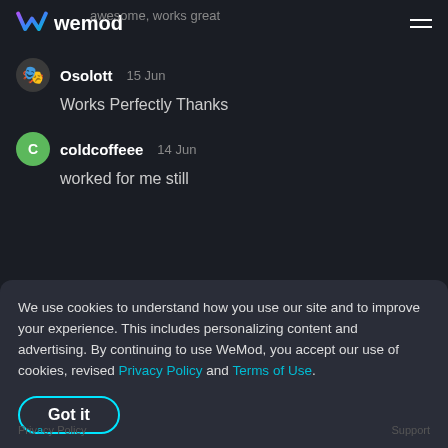wemod
awesome, works great
Osolott  15 Jun
Works Perfectly Thanks
coldcoffeee  14 Jun
worked for me still
Join the discussion
We use cookies to understand how you use our site and to improve your experience. This includes personalizing content and advertising. By continuing to use WeMod, you accept our use of cookies, revised Privacy Policy and Terms of Use.
Got it